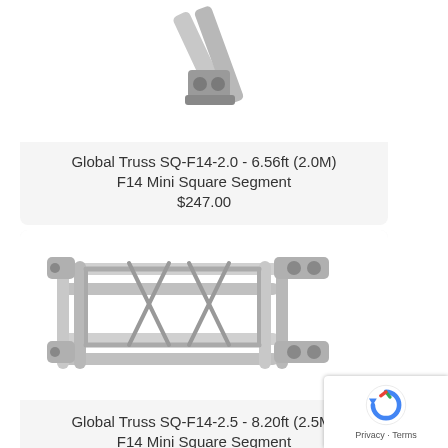[Figure (photo): Partial view of a Global Truss F14 Mini Square Segment truss piece (cropped at top)]
Global Truss SQ-F14-2.0 - 6.56ft (2.0M) F14 Mini Square Segment
$247.00
[Figure (photo): Global Truss SQ-F14-2.5 aluminum square truss segment, silver metallic, diagonal view showing lattice structure and end connectors]
Global Truss SQ-F14-2.5 - 8.20ft (2.5M) F14 Mini Square Segment